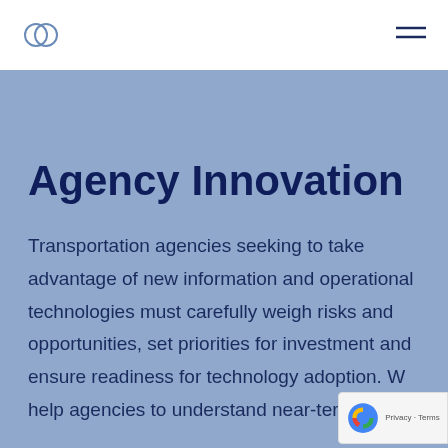[Logo] [Hamburger menu]
Agency Innovation
Transportation agencies seeking to take advantage of new information and operational technologies must carefully weigh risks and opportunities, set priorities for investment and ensure readiness for technology adoption. W help agencies to understand near-term and